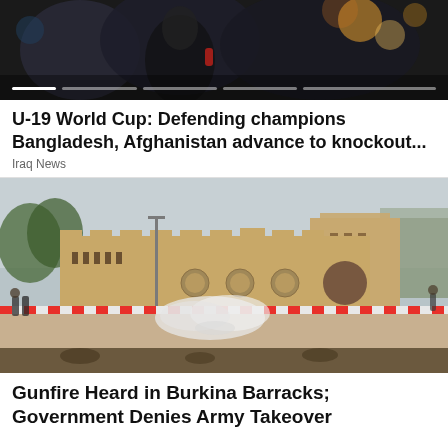[Figure (photo): Top portion of a news carousel showing a person, dark background with colorful lights, with a progress/scrubber bar overlay at the bottom]
U-19 World Cup: Defending champions Bangladesh, Afghanistan advance to knockout...
Iraq News
[Figure (photo): Street scene showing a large sandstone-colored building complex with fortified walls, smoke or tear gas on the ground, and people running in the street]
Gunfire Heard in Burkina Barracks; Government Denies Army Takeover